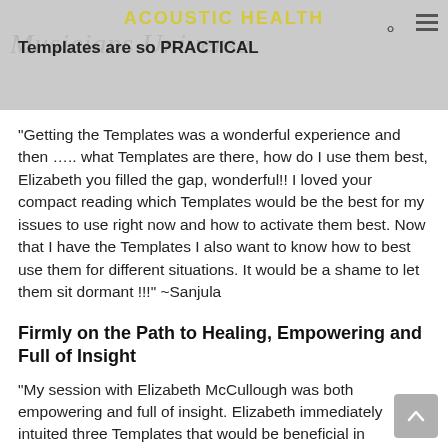ACOUSTIC HEALTH
Templates are so PRACTICAL
“Getting the Templates was a wonderful experience and then ….. what Templates are there, how do I use them best, Elizabeth you filled the gap, wonderful!! I loved your compact reading which Templates would be the best for my issues to use right now and how to activate them best. Now that I have the Templates I also want to know how to best use them for different situations. It would be a shame to let them sit dormant !!!” ~Sanjula
Firmly on the Path to Healing, Empowering and Full of Insight
“My session with Elizabeth McCullough was both empowering and full of insight. Elizabeth immediately intuited three Templates that would be beneficial in